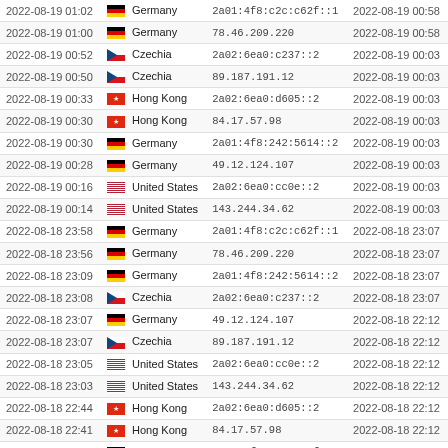| Date/Time | Country | IP Address | Session Start |
| --- | --- | --- | --- |
| 2022-08-19 01:02 | Germany | 2a01:4f8:c2c:c62f::1 | 2022-08-19 00:58 |
| 2022-08-19 01:00 | Germany | 78.46.209.220 | 2022-08-19 00:58 |
| 2022-08-19 00:52 | Czechia | 2a02:6ea0:c237::2 | 2022-08-19 00:03 |
| 2022-08-19 00:50 | Czechia | 89.187.191.12 | 2022-08-19 00:03 |
| 2022-08-19 00:33 | Hong Kong | 2a02:6ea0:d605::2 | 2022-08-19 00:03 |
| 2022-08-19 00:30 | Hong Kong | 84.17.57.98 | 2022-08-19 00:03 |
| 2022-08-19 00:30 | Germany | 2a01:4f8:242:5614::2 | 2022-08-19 00:03 |
| 2022-08-19 00:28 | Germany | 49.12.124.107 | 2022-08-19 00:03 |
| 2022-08-19 00:16 | United States | 2a02:6ea0:cc0e::2 | 2022-08-19 00:03 |
| 2022-08-19 00:14 | United States | 143.244.34.62 | 2022-08-19 00:03 |
| 2022-08-18 23:58 | Germany | 2a01:4f8:c2c:c62f::1 | 2022-08-18 23:07 |
| 2022-08-18 23:56 | Germany | 78.46.209.220 | 2022-08-18 23:07 |
| 2022-08-18 23:09 | Germany | 2a01:4f8:242:5614::2 | 2022-08-18 23:07 |
| 2022-08-18 23:08 | Czechia | 2a02:6ea0:c237::2 | 2022-08-18 23:07 |
| 2022-08-18 23:07 | Germany | 49.12.124.107 | 2022-08-18 22:12 |
| 2022-08-18 23:07 | Czechia | 89.187.191.12 | 2022-08-18 22:12 |
| 2022-08-18 23:05 | United States | 2a02:6ea0:cc0e::2 | 2022-08-18 22:12 |
| 2022-08-18 23:03 | United States | 143.244.34.62 | 2022-08-18 22:12 |
| 2022-08-18 22:44 | Hong Kong | 2a02:6ea0:d605::2 | 2022-08-18 22:12 |
| 2022-08-18 22:41 | Hong Kong | 84.17.57.98 | 2022-08-18 22:12 |
| 2022-08-18 22:11 | Germany | 2a01:4f8:c2c:c62f::1 | 2022-08-18 21:17 |